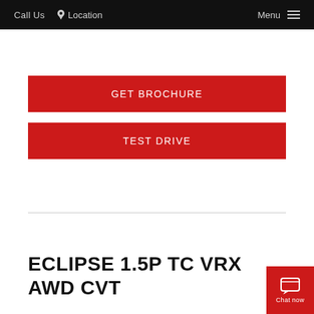Call Us  Location  Menu
GET BROCHURE
TEST DRIVE
ECLIPSE 1.5P TC VRX AWD CVT